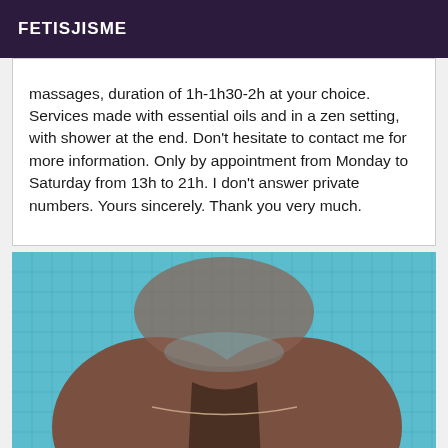FETISJISME
massages, duration of 1h-1h30-2h at your choice. Services made with essential oils and in a zen setting, with shower at the end. Don't hesitate to contact me for more information. Only by appointment from Monday to Saturday from 13h to 21h. I don't answer private numbers. Yours sincerely. Thank you very much.
[Figure (photo): Underwater photo in a swimming pool showing a person in a bikini bottom, viewed from behind, with blue tiled pool water visible.]